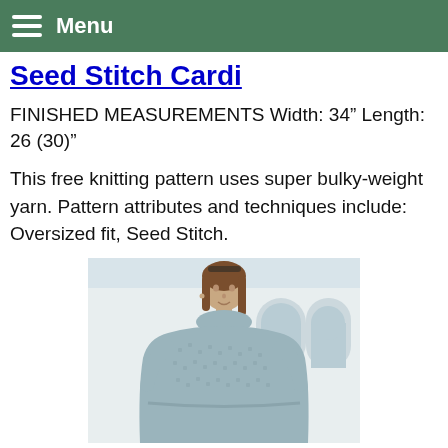Menu
Seed Stitch Cardi
FINISHED MEASUREMENTS Width: 34" Length: 26 (30)"
This free knitting pattern uses super bulky-weight yarn. Pattern attributes and techniques include: Oversized fit, Seed Stitch.
[Figure (photo): A woman wearing a light blue/grey oversized turtleneck seed stitch cardigan, photographed outdoors near a building with arched windows.]